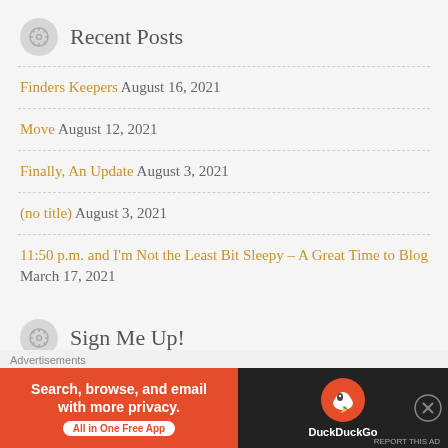Recent Posts
Finders Keepers August 16, 2021
Move August 12, 2021
Finally, An Update August 3, 2021
(no title) August 3, 2021
11:50 p.m. and I'm Not the Least Bit Sleepy – A Great Time to Blog March 17, 2021
Sign Me Up!
Advertisements
[Figure (screenshot): DuckDuckGo advertisement banner: 'Search, browse, and email with more privacy. All in One Free App' with DuckDuckGo logo on dark background]